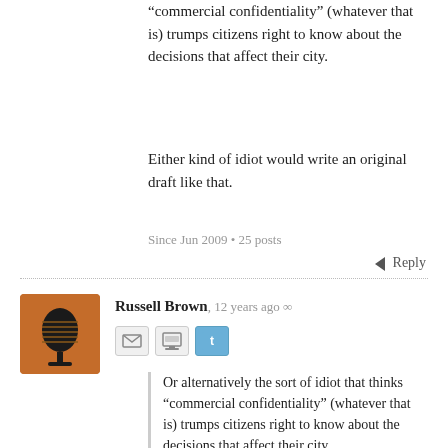“commercial confidentiality” (whatever that is) trumps citizens right to know about the decisions that affect their city.
Either kind of idiot would write an original draft like that.
Since Jun 2009 • 25 posts
Reply
Russell Brown, 12 years ago
Or alternatively the sort of idiot that thinks “commercial confidentiality” (whatever that is) trumps citizens right to know about the decisions that affect their city.
Not to mention “trumps citizens’ right to know what’s being done with hundreds of millions of dollars of their rates money every year.” That’s the big one, I think.
Auckland • Since Nov 2006 • 22850 posts